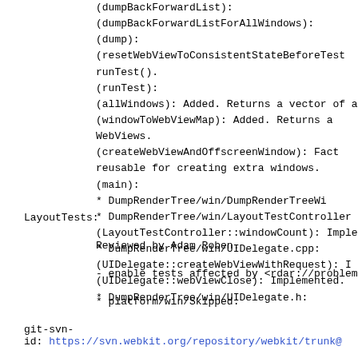(dumpBackForwardList):
(dumpBackForwardListForAllWindows):
(dump):
(resetWebViewToConsistentStateBeforeTest
runTest().
(runTest):
(allWindows): Added. Returns a vector of all
(windowToWebViewMap): Added. Returns a
WebViews.
(createWebViewAndOffscreenWindow): Fact
reusable for creating extra windows.
(main):
* DumpRenderTree/win/DumpRenderTreeWi
* DumpRenderTree/win/LayoutTestController
(LayoutTestController::windowCount): Implen
* DumpRenderTree/win/UIDelegate.cpp:
(UIDelegate::createWebViewWithRequest): I
(UIDelegate::webViewClose): Implemented.
* DumpRenderTree/win/UIDelegate.h:
LayoutTests:
Reviewed by Adam Roben.
- enable tests affected by <rdar://problem/513
* platform/win/Skipped:
git-svn-
id: https://svn.webkit.org/repository/webkit/trunk@